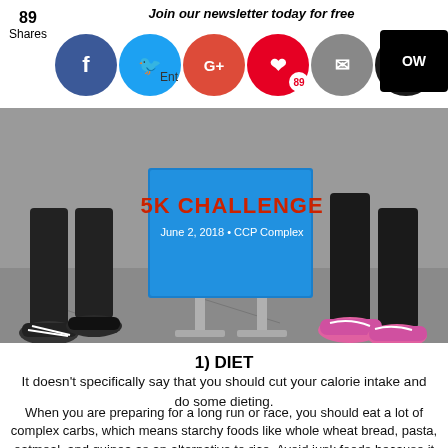89 Shares | Join our newsletter today for free
[Figure (photo): Two people standing in front of a blue 5K Challenge banner reading 'June 2, 2018 • CCP Complex', showing only their legs and sneakers — one wearing black Adidas shoes, the other wearing pink Nike sneakers.]
1) DIET
It doesn't specifically say that you should cut your calorie intake and do some dieting.
When you are preparing for a long run or race, you should eat a lot of complex carbs, which means starchy foods like whole wheat bread, pasta, oatmeal, and quinoa as an alternative to rice. Avoid junk foods because it turns food to sugar that can lessen your energy when the race is on.